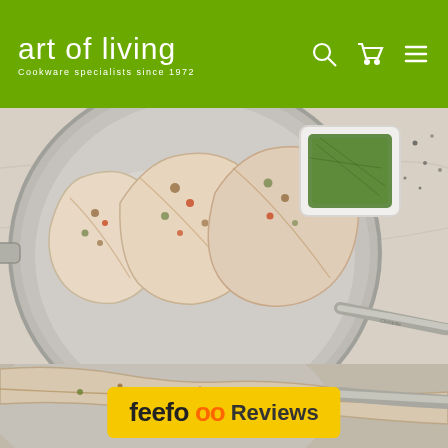art of living — Cookware specialists since 1972
[Figure (photo): Overhead shot of a stainless steel frying pan with three seasoned fish fillets topped with herbs and chili flakes, alongside a small white square dish of chopped green herbs on a marble surface. A stainless steel pan handle with branding is visible in the lower right.]
[Figure (photo): Close-up bottom strip showing a fish fillet in a pan with seasoning and a pan handle visible on the right.]
feefo Reviews